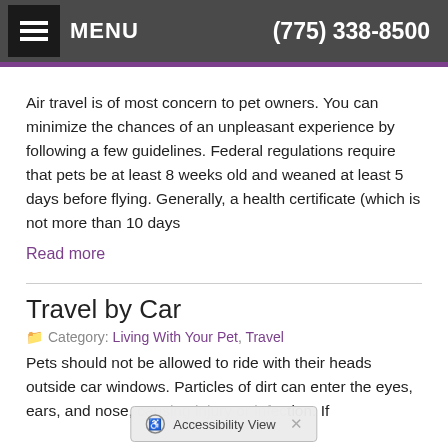MENU  (775) 338-8500
Air travel is of most concern to pet owners. You can minimize the chances of an unpleasant experience by following a few guidelines. Federal regulations require that pets be at least 8 weeks old and weaned at least 5 days before flying. Generally, a health certificate (which is not more than 10 days
Read more
Travel by Car
Category: Living With Your Pet, Travel
Pets should not be allowed to ride with their heads outside car windows. Particles of dirt can enter the eyes, ears, and nose, causing injury or infection. If